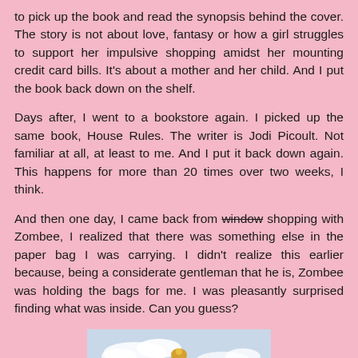to pick up the book and read the synopsis behind the cover. The story is not about love, fantasy or how a girl struggles to support her impulsive shopping amidst her mounting credit card bills. It's about a mother and her child. And I put the book back down on the shelf.
Days after, I went to a bookstore again. I picked up the same book, House Rules. The writer is Jodi Picoult. Not familiar at all, at least to me. And I put it back down again. This happens for more than 20 times over two weeks, I think.
And then one day, I came back from window shopping with Zombee, I realized that there was something else in the paper bag I was carrying. I didn't realize this earlier because, being a considerate gentleman that he is, Zombee was holding the bags for me. I was pleasantly surprised finding what was inside. Can you guess?
[Figure (photo): A person wearing a colorful patchwork blanket or wrap, seen from behind against a sky background with clouds.]